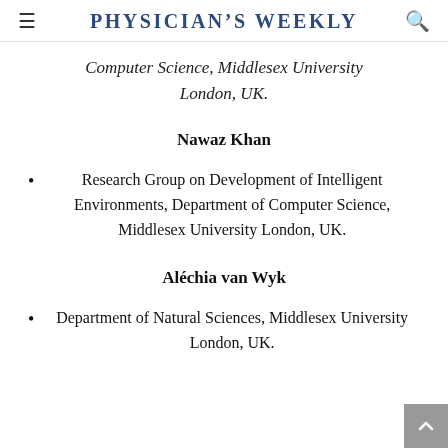Physician's Weekly
Computer Science, Middlesex University London, UK.
Nawaz Khan
Research Group on Development of Intelligent Environments, Department of Computer Science, Middlesex University London, UK.
Aléchia van Wyk
Department of Natural Sciences, Middlesex University London, UK.